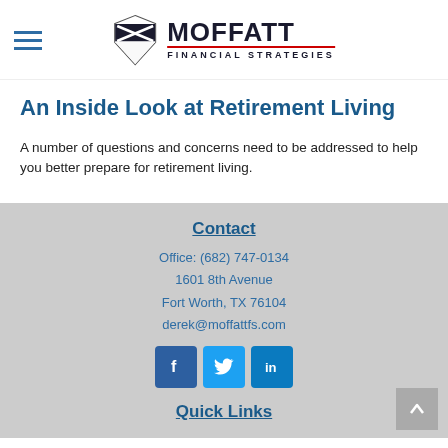Moffatt Financial Strategies
An Inside Look at Retirement Living
A number of questions and concerns need to be addressed to help you better prepare for retirement living.
Contact
Office: (682) 747-0134
1601 8th Avenue
Fort Worth, TX 76104
derek@moffattfs.com
Quick Links